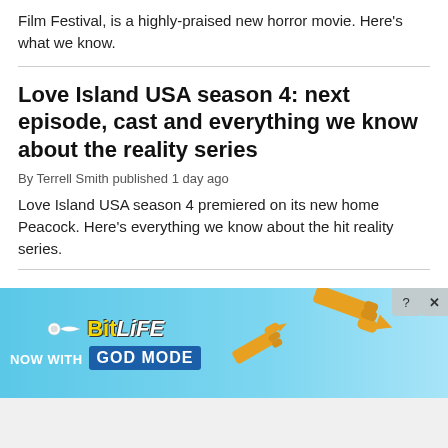Film Festival, is a highly-praised new horror movie. Here's what we know.
Love Island USA season 4: next episode, cast and everything we know about the reality series
By Terrell Smith published 1 day ago
Love Island USA season 4 premiered on its new home Peacock. Here’s everything we know about the hit reality series.
Autumn TV preview 2022 — all the
[Figure (screenshot): BitLife advertisement banner: 'NOW WITH GOD MODE' on a blue gradient background with pointing hand icons and close/help buttons]